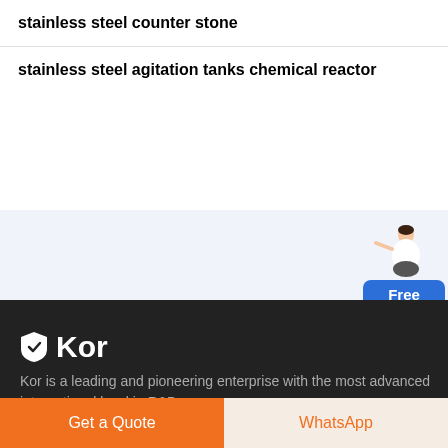stainless steel counter stone
stainless steel agitation tanks chemical reactor
[Figure (illustration): Customer service representative figure with Free chat button widget in blue]
Kor
Kor is a leading and pioneering enterprise with the most advanced international level in R&D,
Get a Quote
WhatsApp